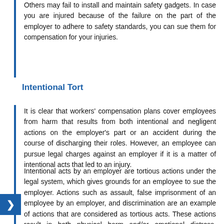Others may fail to install and maintain safety gadgets. In case you are injured because of the failure on the part of the employer to adhere to safety standards, you can sue them for compensation for your injuries.
Intentional Tort
It is clear that workers' compensation plans cover employees from harm that results from both intentional and negligent actions on the employer's part or an accident during the course of discharging their roles. However, an employee can pursue legal charges against an employer if it is a matter of intentional acts that led to an injury.
Intentional acts by an employer are tortious actions under the legal system, which gives grounds for an employee to sue the employer. Actions such as assault, false imprisonment of an employee by an employer, and discrimination are an example of actions that are considered as tortious acts. These actions result in both physical harm and/or emotional distress, situations that are best compensated for through legal suits against an employer as opposed to the workers' compensation